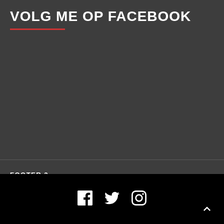VOLG ME OP FACEBOOK
FOOTER 2
Please login and add some widgets to this widget area.
Social icons: Facebook, Twitter, Instagram; scroll-to-top button